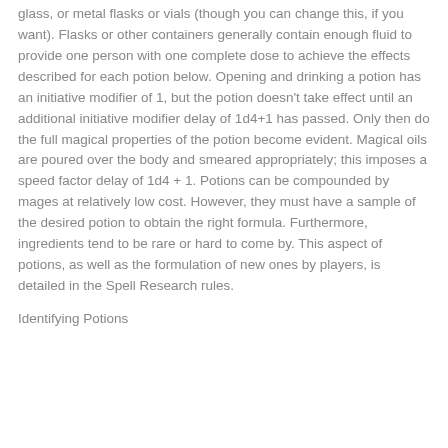glass, or metal flasks or vials (though you can change this, if you want). Flasks or other containers generally contain enough fluid to provide one person with one complete dose to achieve the effects described for each potion below. Opening and drinking a potion has an initiative modifier of 1, but the potion doesn't take effect until an additional initiative modifier delay of 1d4+1 has passed. Only then do the full magical properties of the potion become evident. Magical oils are poured over the body and smeared appropriately; this imposes a speed factor delay of 1d4 + 1. Potions can be compounded by mages at relatively low cost. However, they must have a sample of the desired potion to obtain the right formula. Furthermore, ingredients tend to be rare or hard to come by. This aspect of potions, as well as the formulation of new ones by players, is detailed in the Spell Research rules.
Identifying Potions